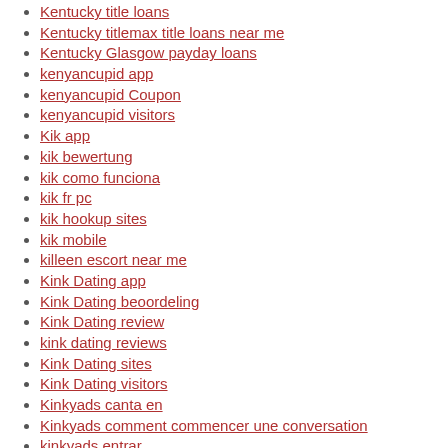Kentucky title loans
Kentucky titlemax title loans near me
Kentucky Glasgow payday loans
kenyancupid app
kenyancupid Coupon
kenyancupid visitors
Kik app
kik bewertung
kik como funciona
kik fr pc
kik hookup sites
kik mobile
killeen escort near me
Kink Dating app
Kink Dating beoordeling
Kink Dating review
kink dating reviews
Kink Dating sites
Kink Dating visitors
Kinkyads canta en
Kinkyads comment commencer une conversation
kinkyads entrar
Kinkyads guida
kinkyads mobile site
kinkyads search